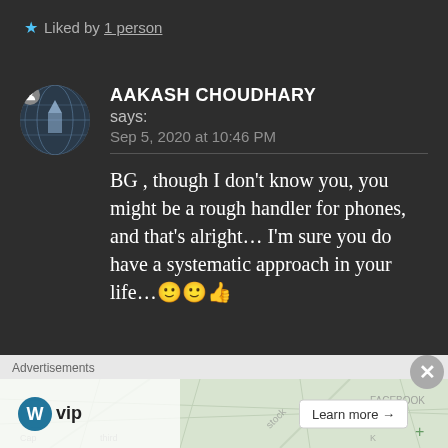★ Liked by 1 person
AAKASH CHOUDHARY says: Sep 5, 2020 at 10:46 PM
BG , though I don't know you, you might be a rough handler for phones, and that's alright… I'm sure you do have a systematic approach in your life…🙂🙂👍
Advertisements
[Figure (screenshot): WordPress VIP advertisement banner with map background and Learn more button]